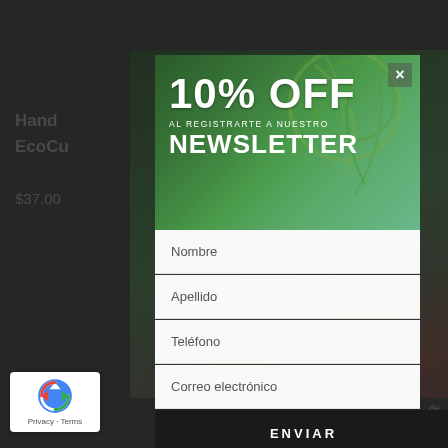[Figure (screenshot): Dark dimmed background of an e-commerce product page showing partial text 'Hand... EcoCu...' and '$37.00' with product images partially visible behind a newsletter signup modal overlay]
10% OFF
AL REGISTRARTE A NUESTRO
NEWSLETTER
Nombre
Apellido
Teléfono
Correo electrónico
ENVIAR
Privacy · Terms